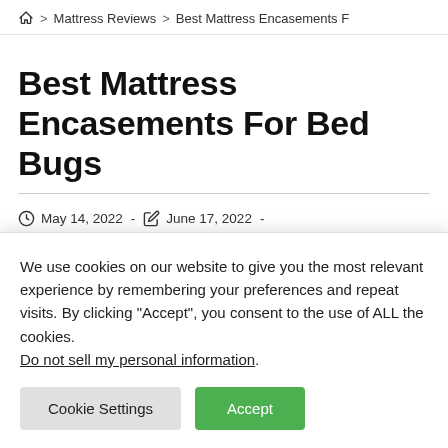Home > Mattress Reviews > Best Mattress Encasements F
Best Mattress Encasements For Bed Bugs
May 14, 2022 - June 17, 2022 -
We use cookies on our website to give you the most relevant experience by remembering your preferences and repeat visits. By clicking "Accept", you consent to the use of ALL the cookies. Do not sell my personal information.